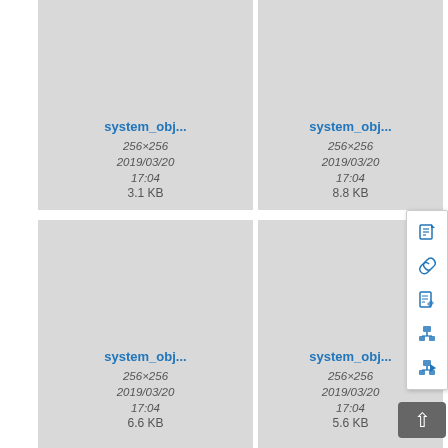[Figure (screenshot): File manager grid view showing image file cards. Each card shows a thumbnail area (gray), a truncated filename 'system_obj...', dimensions '256×256', date '2019/03/20', time '17:04', and file size. Row 1: 3.1 KB, 8.8 KB, 5.6 KB (partial). Row 2: 6.6 KB, 5.6 KB, 1.7 KB (partial). A context menu with edit/link/file/anchor icons is visible on the right side. A back-to-top button is visible at bottom right. Row 3 cards are partially visible at the bottom.]